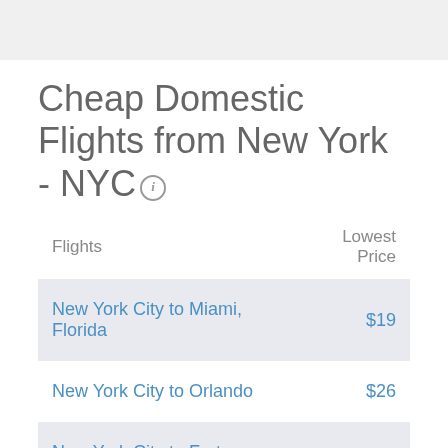Cheap Domestic Flights from New York - NYC
| Flights | Lowest Price |
| --- | --- |
| New York City to Miami, Florida | $19 |
| New York City to Orlando | $26 |
| New York City to Fort Lauderdale | $23 |